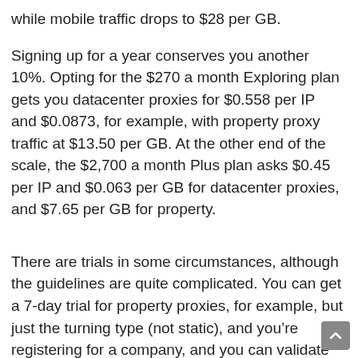while mobile traffic drops to $28 per GB.
Signing up for a year conserves you another 10%. Opting for the $270 a month Exploring plan gets you datacenter proxies for $0.558 per IP and $0.0873, for example, with property proxy traffic at $13.50 per GB. At the other end of the scale, the $2,700 a month Plus plan asks $0.45 per IP and $0.063 per GB for datacenter proxies, and $7.65 per GB for property.
There are trials in some circumstances, although the guidelines are quite complicated. You can get a 7-day trial for property proxies, for example, but just the turning type (not static), and you’re registering for a company, and you can validate company registration and ownership, and you’re investing a minimum of $500 a month. Freelancers should